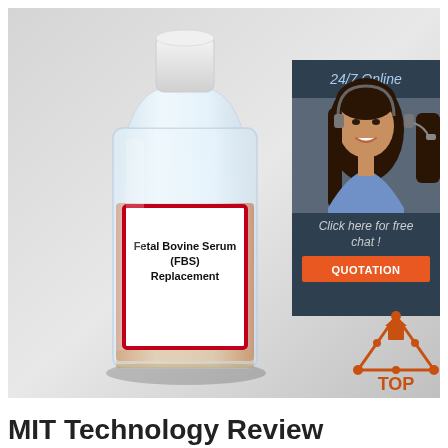[Figure (photo): A clear laboratory bottle with white cap containing orange-colored Fetal Bovine Serum (FBS) Replacement liquid. The bottle has a white rectangular label with red border reading 'Fetal Bovine Serum (FBS) Replacement'. The bottle is photographed on a light gray background. In the upper right of the image is an online chat widget with a woman wearing a headset, labeled '24/7 Online' and 'Click here for free chat!' with a QUOTATION button. Bottom right has a 'TOP' logo icon.]
MIT Technology Review